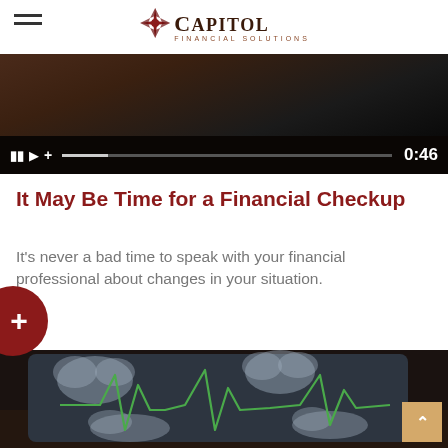[Figure (logo): Capitol Financial Solutions logo with compass star mark]
[Figure (screenshot): Video player showing paused video with controls bar showing time 0:46]
It May Be Time for a Financial Checkup
It's never a bad time to speak with your financial professional about changes in your situation.
[Figure (photo): Hand holding a tablet showing a financial/heartbeat monitor screen with cloud shapes and green ECG line]